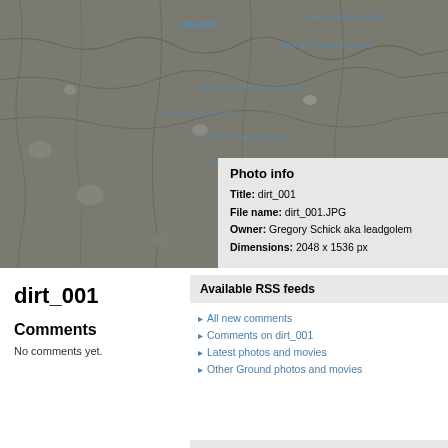[Figure (photo): Close-up photograph of cracked dry dirt/ground texture with small pebbles and rocks scattered across the surface. Overlaid with blue hyperlink text from a website navigation menu.]
Photo info
Title: dirt_001
File name: dirt_001.JPG
Owner: Gregory Schick aka leadgolem
Dimensions: 2048 x 1536 px
dirt_001
Available RSS feeds
All new comments
Comments on dirt_001
Latest photos and movies
Other Ground photos and movies
Comments
No comments yet.